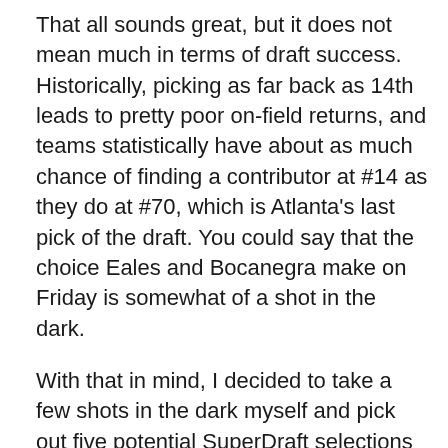That all sounds great, but it does not mean much in terms of draft success. Historically, picking as far back as 14th leads to pretty poor on-field returns, and teams statistically have about as much chance of finding a contributor at #14 as they do at #70, which is Atlanta's last pick of the draft. You could say that the choice Eales and Bocanegra make on Friday is somewhat of a shot in the dark.
With that in mind, I decided to take a few shots in the dark myself and pick out five potential SuperDraft selections that could do well with Atlanta United. These players were chosen for their potential fit in the squad as well as their probable availability on draft day. While there's no guarantee any of these kids will find success in MLS (or even make the team, for that matter) there's still talent to unearth here. So, with the help of some